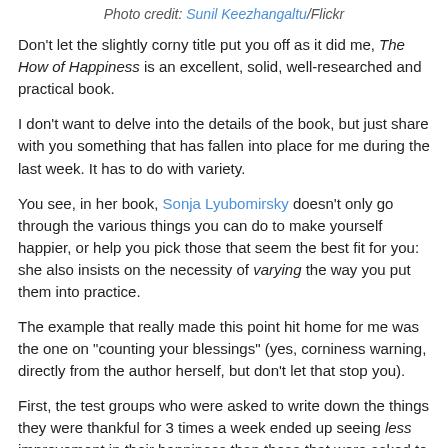Photo credit: Sunil Keezhangaltu/Flickr
Don't let the slightly corny title put you off as it did me, The How of Happiness is an excellent, solid, well-researched and practical book.
I don't want to delve into the details of the book, but just share with you something that has fallen into place for me during the last week. It has to do with variety.
You see, in her book, Sonja Lyubomirsky doesn't only go through the various things you can do to make yourself happier, or help you pick those that seem the best fit for you: she also insists on the necessity of varying the way you put them into practice.
The example that really made this point hit home for me was the one on “counting your blessings” (yes, corniness warning, directly from the author herself, but don’t let that stop you).
First, the test groups who were asked to write down the things they were thankful for 3 times a week ended up seeing less improvement in their happiness than those that were asked to do it only once a week. Doing it only once a week makes it more of an event and keeps boredom/immunisation at bay.
Second, even then, Sonja Lyubomirsky invites the reader to not do it in